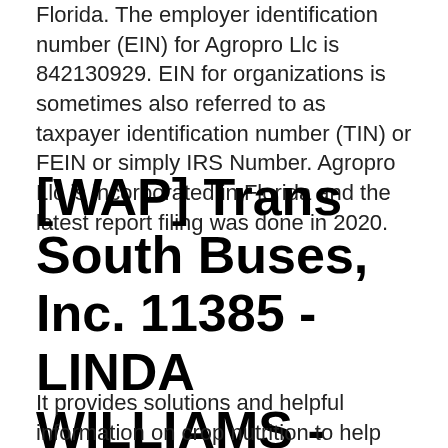Florida. The employer identification number (EIN) for Agropro Llc is 842130929. EIN for organizations is sometimes also referred to as taxpayer identification number (TIN) or FEIN or simply IRS Number. Agropro Llc is incorporated in Florida and the latest report filing was done in 2020.
[WAP] Trans South Buses, Inc. 11385 - LINDA WILLIAMS - Georgia
It provides solutions and helpful information on crop nutrition to help growers improve their crops.